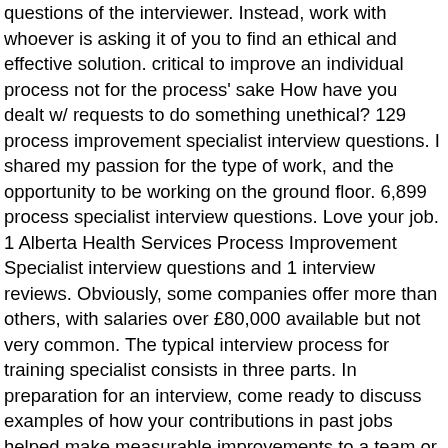questions of the interviewer. Instead, work with whoever is asking it of you to find an ethical and effective solution. critical to improve an individual process not for the process' sake How have you dealt w/ requests to do something unethical? 129 process improvement specialist interview questions. I shared my passion for the type of work, and the opportunity to be working on the ground floor. 6,899 process specialist interview questions. Love your job. 1 Alberta Health Services Process Improvement Specialist interview questions and 1 interview reviews. Obviously, some companies offer more than others, with salaries over £80,000 available but not very common. The typical interview process for training specialist consists in three parts. In preparation for an interview, come ready to discuss examples of how your contributions in past jobs helped make measurable improvements to a team or product. Within each competency, sample questions are organized by the following: 1. That means it's time to take it a step further; it's time for some examples that can show you how to put those strategies to work. Your best strategy is to prepare in advance